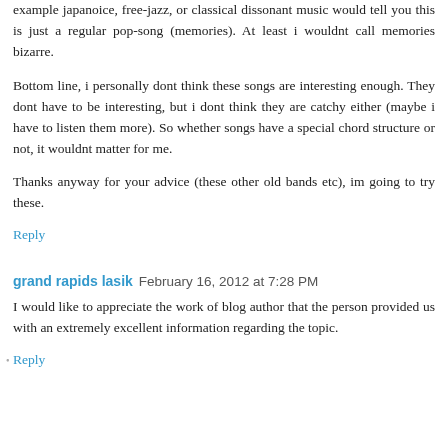example japanoice, free-jazz, or classical dissonant music would tell you this is just a regular pop-song (memories). At least i wouldnt call memories bizarre.
Bottom line, i personally dont think these songs are interesting enough. They dont have to be interesting, but i dont think they are catchy either (maybe i have to listen them more). So whether songs have a special chord structure or not, it wouldnt matter for me.
Thanks anyway for your advice (these other old bands etc), im going to try these.
Reply
grand rapids lasik  February 16, 2012 at 7:28 PM
I would like to appreciate the work of blog author that the person provided us with an extremely excellent information regarding the topic.
Reply